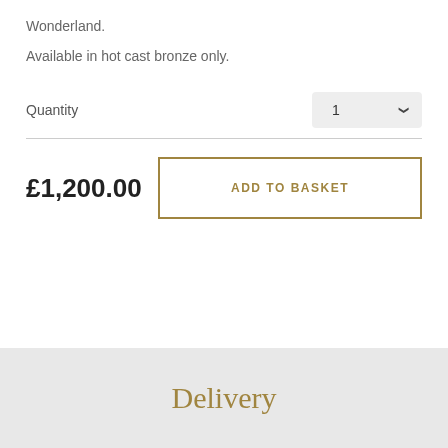Wonderland.
Available in hot cast bronze only.
Quantity
1
£1,200.00
ADD TO BASKET
Delivery